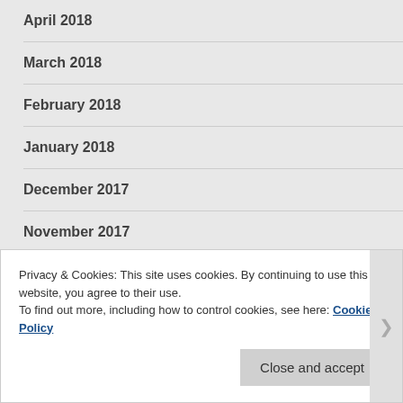April 2018
March 2018
February 2018
January 2018
December 2017
November 2017
October 2017
September 2017
Privacy & Cookies: This site uses cookies. By continuing to use this website, you agree to their use.
To find out more, including how to control cookies, see here: Cookie Policy
Close and accept